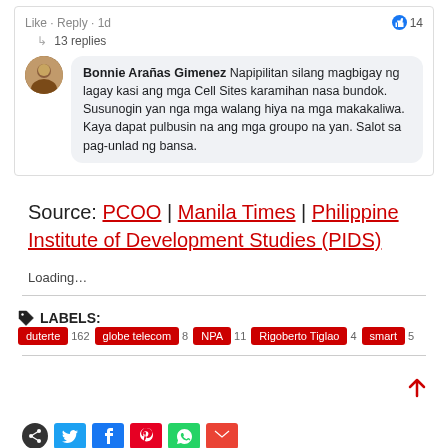[Figure (screenshot): Facebook comment showing 'Like · Reply · 1d' with thumbs up 14 count, '13 replies', and a comment by Bonnie Arañas Gimenez reading: 'Napipilitan silang magbigay ng lagay kasi ang mga Cell Sites karamihan nasa bundok. Susunogin yan nga mga walang hiya na mga makakaliwa. Kaya dapat pulbusin na ang mga groupo na yan. Salot sa pag-unlad ng bansa.']
Source: PCOO | Manila Times | Philippine Institute of Development Studies (PIDS)
Loading…
LABELS: duterte 162  globe telecom 8  NPA 11  Rigoberto Tiglao 4  smart 5